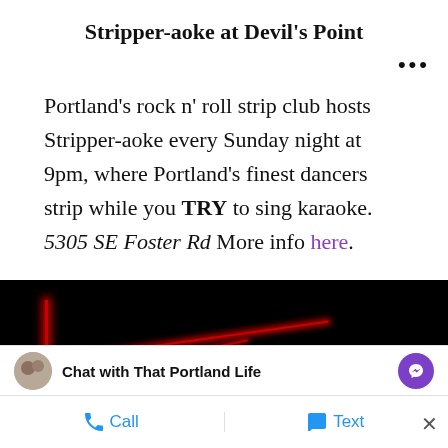Stripper-aoke at Devil's Point
Portland's rock n' roll strip club hosts Stripper-aoke every Sunday night at 9pm, where Portland's finest dancers strip while you TRY to sing karaoke. 5305 SE Foster Rd More info here.
[Figure (photo): Dark interior photo of a club with red neon lighting and a white card/sign visible in the lower right]
Chat with That Portland Life
Call
Text